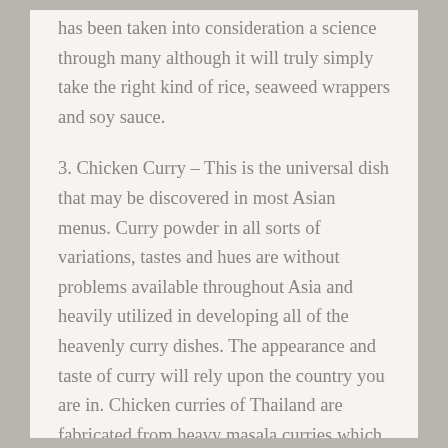has been taken into consideration a science through many although it will truly simply take the right kind of rice, seaweed wrappers and soy sauce.
3. Chicken Curry – This is the universal dish that may be discovered in most Asian menus. Curry powder in all sorts of variations, tastes and hues are without problems available throughout Asia and heavily utilized in developing all of the heavenly curry dishes. The appearance and taste of curry will rely upon the country you are in. Chicken curries of Thailand are fabricated from heavy masala curries which might be used by Indians as nicely. Indonesians love their “Kari Ayam” thinner, with more watery sauces while Malaysians don’t appear to be too decisive